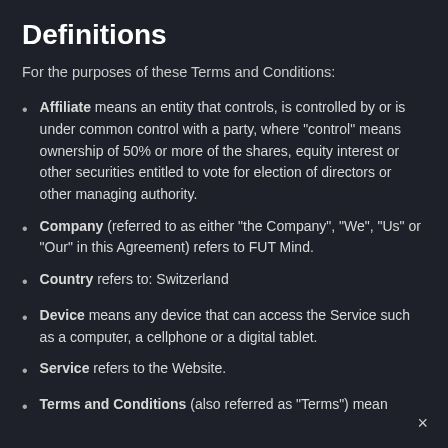Definitions
For the purposes of these Terms and Conditions:
Affiliate means an entity that controls, is controlled by or is under common control with a party, where "control" means ownership of 50% or more of the shares, equity interest or other securities entitled to vote for election of directors or other managing authority.
Company (referred to as either "the Company", "We", "Us" or "Our" in this Agreement) refers to FUT Mind.
Country refers to: Switzerland
Device means any device that can access the Service such as a computer, a cellphone or a digital tablet.
Service refers to the Website.
Terms and Conditions (also referred as "Terms") mean